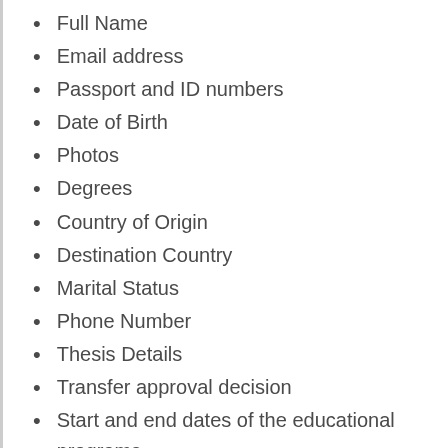Full Name
Email address
Passport and ID numbers
Date of Birth
Photos
Degrees
Country of Origin
Destination Country
Marital Status
Phone Number
Thesis Details
Transfer approval decision
Start and end dates of the educational programs
Tuition Costs
Scanned copies of formal letters directed at